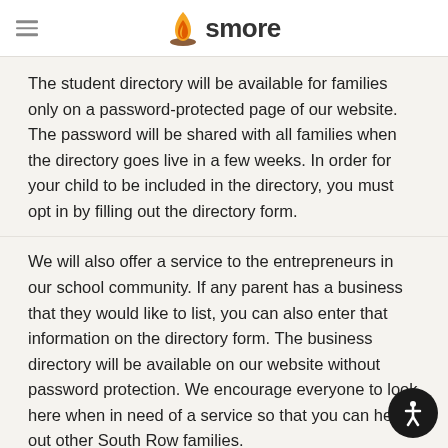smore
The student directory will be available for families only on a password-protected page of our website. The password will be shared with all families when the directory goes live in a few weeks. In order for your child to be included in the directory, you must opt in by filling out the directory form.
We will also offer a service to the entrepreneurs in our school community. If any parent has a business that they would like to list, you can also enter that information on the directory form. The business directory will be available on our website without password protection. We encourage everyone to look here when in need of a service so that you can help out other South Row families.
Ice Cream Social
Mark your calendars - the Ice Cream Social is back!!! We